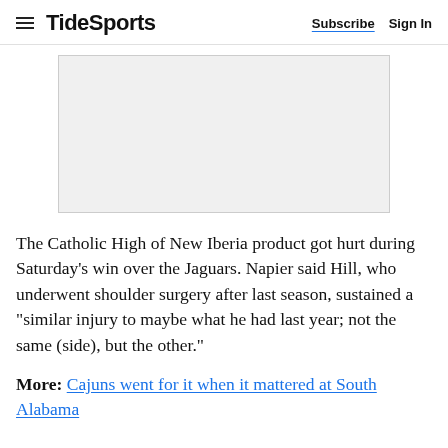TideSports  Subscribe  Sign In
[Figure (other): Advertisement placeholder box (gray rectangle)]
The Catholic High of New Iberia product got hurt during Saturday’s win over the Jaguars. Napier said Hill, who underwent shoulder surgery after last season, sustained a “similar injury to maybe what he had last year; not the same (side), but the other.”
More: Cajuns went for it when it mattered at South Alabama